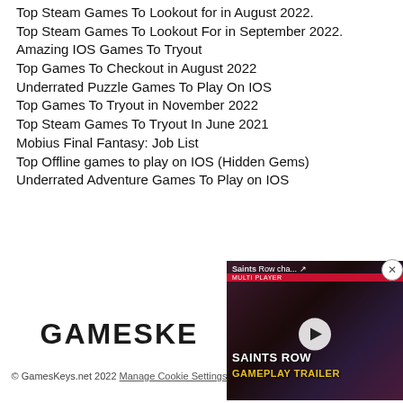Top Steam Games To Lookout for in August 2022.
Top Steam Games To Lookout For in September 2022.
Amazing IOS Games To Tryout
Top Games To Checkout in August 2022
Underrated Puzzle Games To Play On IOS
Top Games To Tryout in November 2022
Top Steam Games To Tryout In June 2021
Mobius Final Fantasy: Job List
Top Offline games to play on IOS (Hidden Gems)
Underrated Adventure Games To Play on IOS
[Figure (screenshot): Video overlay showing Saints Row gameplay trailer thumbnail with play button, title bar reading 'Saints Row cha...' and close button]
GAMESKE
© GamesKeys.net 2022 Manage Cookie Settings